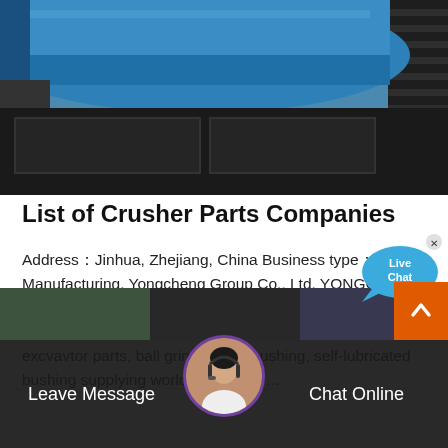[Figure (photo): Industrial crusher machinery showing blue cylindrical drum and dark metal trays/components]
List of Crusher Parts Companies
Address：Jinhua, Zhejiang, China Business type：Manufacturing. Yongcheng Group Co., Ltd. YONGCHENG group has grown into China's largest copper alloy (brass, bronze) manufacturer of high quality crusher spares, excvavtor parts, ball grinding mill bushing, self-lubricated bushing supplying worldwide to the ...
[Figure (screenshot): Live Chat bubble with customer service representative avatar, Leave Message and Chat Online buttons at bottom]
Leave Message    Chat Online